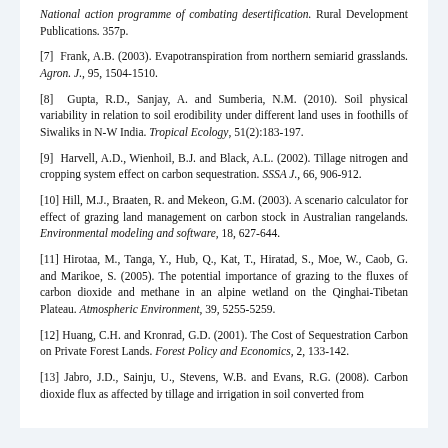National action programme of combating desertification. Rural Development Publications. 357p.
[7] Frank, A.B. (2003). Evapotranspiration from northern semiarid grasslands. Agron. J., 95, 1504-1510.
[8] Gupta, R.D., Sanjay, A. and Sumberia, N.M. (2010). Soil physical variability in relation to soil erodibility under different land uses in foothills of Siwaliks in N-W India. Tropical Ecology, 51(2):183-197.
[9] Harvell, A.D., Wienhoil, B.J. and Black, A.L. (2002). Tillage nitrogen and cropping system effect on carbon sequestration. SSSA J., 66, 906-912.
[10] Hill, M.J., Braaten, R. and Mekeon, G.M. (2003). A scenario calculator for effect of grazing land management on carbon stock in Australian rangelands. Environmental modeling and software, 18, 627-644.
[11] Hirotaa, M., Tanga, Y., Hub, Q., Kat, T., Hiratad, S., Moe, W., Caob, G. and Marikoe, S. (2005). The potential importance of grazing to the fluxes of carbon dioxide and methane in an alpine wetland on the Qinghai-Tibetan Plateau. Atmospheric Environment, 39, 5255-5259.
[12] Huang, C.H. and Kronrad, G.D. (2001). The Cost of Sequestration Carbon on Private Forest Lands. Forest Policy and Economics, 2, 133-142.
[13] Jabro, J.D., Sainju, U., Stevens, W.B. and Evans, R.G. (2008). Carbon dioxide flux as affected by tillage and irrigation in soil converted from